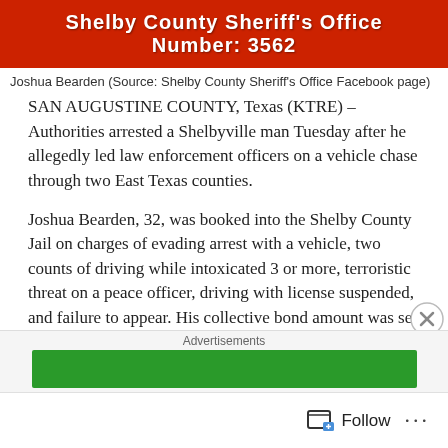[Figure (photo): Mugshot photo banner from Shelby County Sheriff's Office showing booking number 3562 on orange background]
Joshua Bearden (Source: Shelby County Sheriff's Office Facebook page)
SAN AUGUSTINE COUNTY, Texas (KTRE) – Authorities arrested a Shelbyville man Tuesday after he allegedly led law enforcement officers on a vehicle chase through two East Texas counties.
Joshua Bearden, 32, was booked into the Shelby County Jail on charges of evading arrest with a vehicle, two counts of driving while intoxicated 3 or more, terroristic threat on a peace officer, driving with license suspended, and failure to appear. His collective bond amount was set at $50,500.
According to a post on the Shelby County Sheriff's Office Facebook page, SCSO deputies went to a house on FM 417 in Shelbyville to do a welfare check Tuesday. When they got to
Advertisements